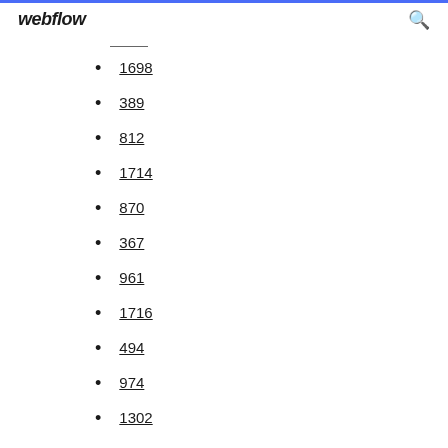webflow
1698
389
812
1714
870
367
961
1716
494
974
1302
822